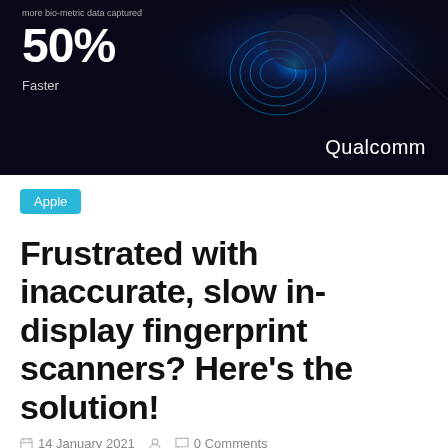[Figure (photo): Dark background hero image showing a finger pressing on a glowing blue fingerprint scanner. Shows '50% Faster' text and Qualcomm logo. Small text at top reads 'more bio-metric data captured'.]
Apple
Frustrated with inaccurate, slow in-display fingerprint scanners? Here's the solution!
14 January 2021   0 Comments
Tech lovers reading this may recall that in 2018 Qualcomm presented the very first generation 3D Sonic sensing unit which used ultrasonic waves for authentication. While it was more protected compared the optical fingerprint sensors that we are utilized to